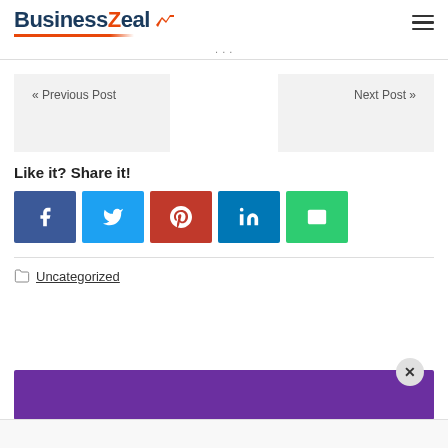BusinessZeal
« Previous Post
Next Post »
Like it? Share it!
[Figure (other): Social share buttons: Facebook, Twitter, Pinterest, LinkedIn, Email]
Uncategorized
[Figure (other): Purple promotional banner with close button]